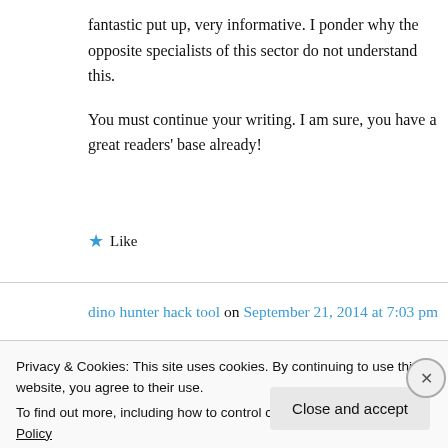fantastic put up, very informative. I ponder why the opposite specialists of this sector do not understand this.

You must continue your writing. I am sure, you have a great readers' base already!
Like
dino hunter hack tool on September 21, 2014 at 7:03 pm
Privacy & Cookies: This site uses cookies. By continuing to use this website, you agree to their use.
To find out more, including how to control cookies, see here: Cookie Policy
Close and accept